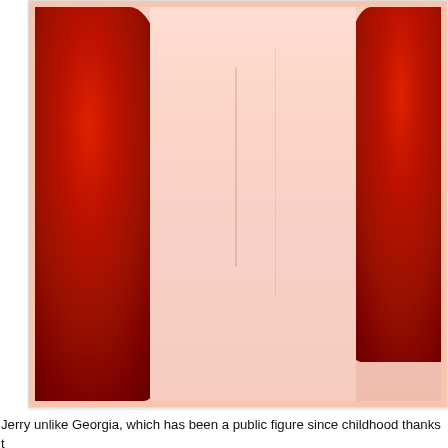[Figure (photo): Photo of a person with bright red curly hair, cropped at top showing torso area with pale skin, framed with a light peachy-pink border. Image is cropped at the top of the page.]
Jerry unlike Georgia, which has been a public figure since childhood thanks t... was discovered while sunbathing on the beach in Saint Tropez by Claude Ha... move to Paris and start her model career.
[Figure (photo): Photo showing a close-up of a hand with manicured red nails resting on a blue textured fabric surface, framed with a light peachy-pink border.]